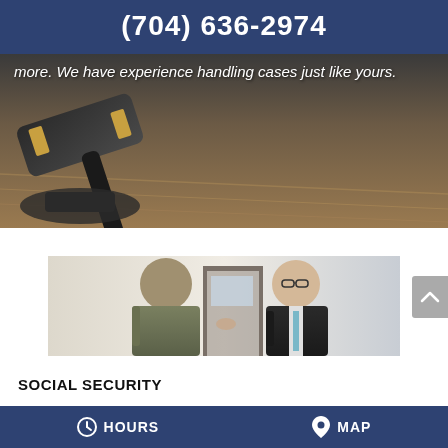(704) 636-2974
[Figure (photo): Partially visible hero image showing a judge's gavel on a wooden surface, with overlaid white italic text reading 'more. We have experience handling cases just like yours.']
[Figure (photo): Two men shaking hands indoors — one seen from behind in an olive shirt, the other facing the camera wearing a dark suit and blue tie with glasses, smiling]
SOCIAL SECURITY
We represent both social security and disability cases, and you won't receive a fee unless we win. As
HOURS   MAP